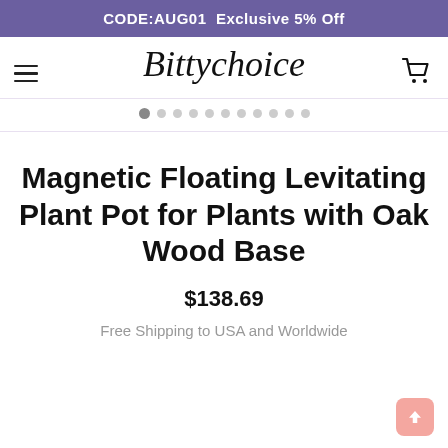CODE:AUG01  Exclusive 5% Off
[Figure (logo): Bittychoice script logo with hamburger menu and shopping cart icon]
Magnetic Floating Levitating Plant Pot for Plants with Oak Wood Base
$138.69
Free Shipping to USA and Worldwide